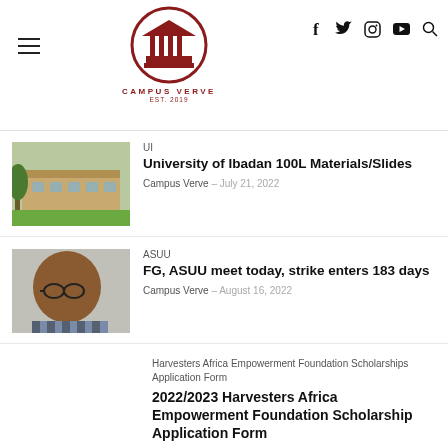Campus Verve EST. 2019
[Figure (logo): Campus Verve logo: red circle with building/columns icon, text CAMPUS VERVE EST. 2019]
[Figure (screenshot): Social media icons: Facebook, Twitter, Instagram, YouTube, Search]
UI
University of Ibadan 100L Materials/Slides
Campus Verve – July 21, 2022
[Figure (photo): University of Ibadan building with tree and green lawn]
ASUU
FG, ASUU meet today, strike enters 183 days
Campus Verve – August 16, 2022
[Figure (photo): Portrait of an older man wearing glasses and a striped shirt]
Harvesters Africa Empowerment Foundation Scholarships Application Form
2022/2023 Harvesters Africa Empowerment Foundation Scholarship Application Form
Campus Verve – August 06, 2022